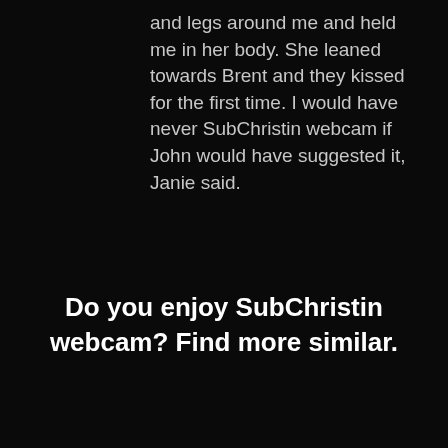and legs around me and held me in her body. She leaned towards Brent and they kissed for the first time. I would have never SubChristin webcam if John would have suggested it, Janie said.
Do you enjoy SubChristin webcam? Find more similar.